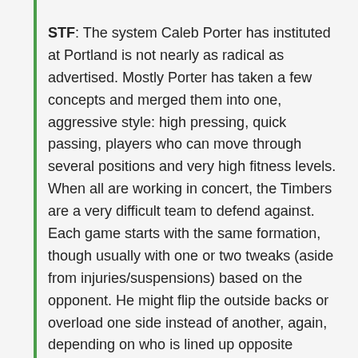STF: The system Caleb Porter has instituted at Portland is not nearly as radical as advertised. Mostly Porter has taken a few concepts and merged them into one, aggressive style: high pressing, quick passing, players who can move through several positions and very high fitness levels. When all are working in concert, the Timbers are a very difficult team to defend against. Each game starts with the same formation, though usually with one or two tweaks (aside from injuries/suspensions) based on the opponent. He might flip the outside backs or overload one side instead of another, again, depending on who is lined up opposite Portland. These changes are less dramatic than people want to believe, but the subtle adjustments and demands of extreme proficiency are really what allow this